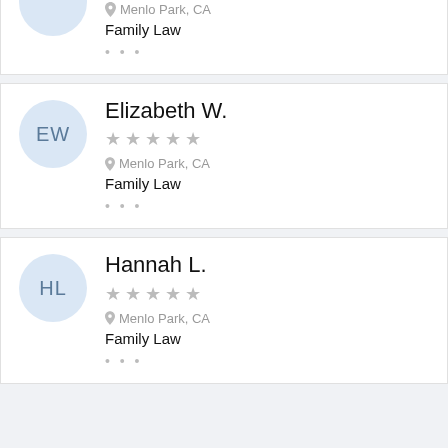Menlo Park, CA
Family Law
Elizabeth W.
Menlo Park, CA
Family Law
Hannah L.
Menlo Park, CA
Family Law